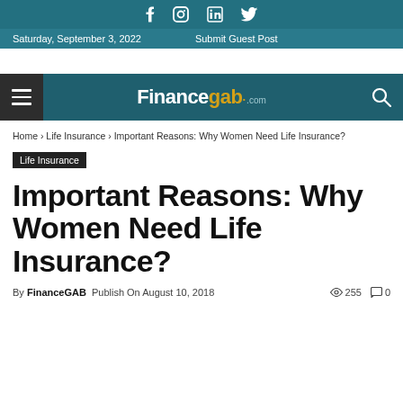Social icons: Facebook, Instagram, LinkedIn, Twitter
Saturday, September 3, 2022   Submit Guest Post
Financegab.com
Home › Life Insurance › Important Reasons: Why Women Need Life Insurance?
Life Insurance
Important Reasons: Why Women Need Life Insurance?
By FinanceGAB   Publish On August 10, 2018   255 views   0 comments